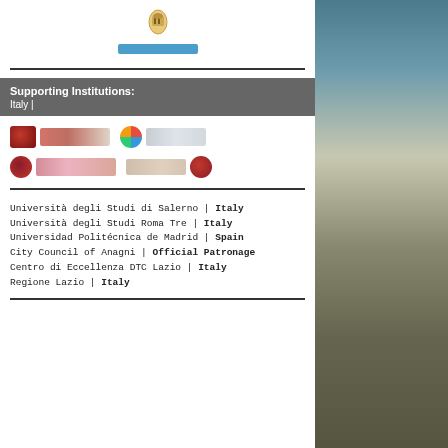[Figure (logo): Conference logo with icon and colored text bar]
Supporting Institutions:
Italy |
[Figure (logo): Four institutional logos displayed in a 2x2 grid: DRC logo, colored globe logo with grey rectangle, Vino di Ruga logo, and another institutional logo]
Università degli Studi di Salerno | Italy
Università degli Studi Roma Tre | Italy
Universidad Politécnica de Madrid | Spain
City Council of Anagni | Official Patronage
Centro di Eccellenza DTC Lazio | Italy
Regione Lazio | Italy